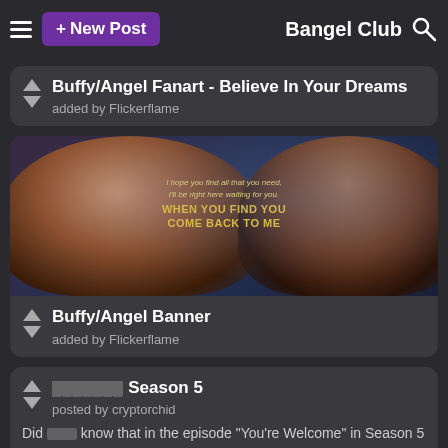+ New Post  Bangel Club
Buffy/Angel Fanart - Believe In Your Dreams
added by Flickerflame
[Figure (photo): Fanart image showing two people (woman and man) side by side with text overlay reading 'I hope you find all that you need, I'll be right here waiting for you. WHEN YOU FIND YOU COME BACK TO ME']
Buffy/Angel Banner
added by Flickerflame
[unreadable] Season 5
posted by cryptorchid
Did [unreadable] know that in the episode "You're Welcome" in Season 5 of [unreadable] writers originally wanted Buffy to come and get [unreadable] back on track but Sarah Michelle Gellar couldn't make it due to other obligations so they wrote the episode for Cordelia instead?